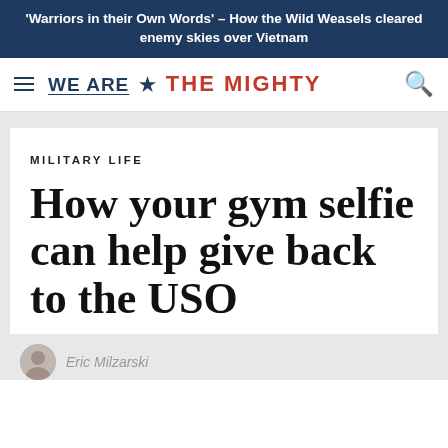'Warriors in their Own Words' – How the Wild Weasels cleared enemy skies over Vietnam
[Figure (logo): We Are The Mighty website navigation logo with hamburger menu and search icon]
MILITARY LIFE
How your gym selfie can help give back to the USO
Eric Milzarski